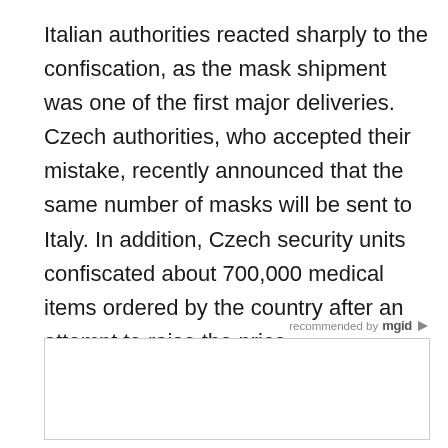Italian authorities reacted sharply to the confiscation, as the mask shipment was one of the first major deliveries. Czech authorities, who accepted their mistake, recently announced that the same number of masks will be sent to Italy. In addition, Czech security units confiscated about 700,000 medical items ordered by the country after an attempt to raise the price.
recommended by mgid
[Figure (other): Advertisement placeholder box, white rectangle with thin border]